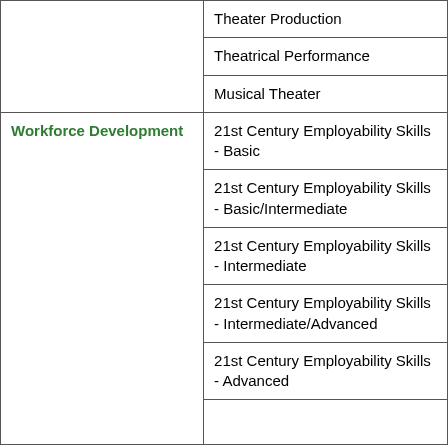| Category | Course/Program |
| --- | --- |
|  | Theater Production |
|  | Theatrical Performance |
|  | Musical Theater |
| Workforce Development | 21st Century Employability Skills - Basic |
|  | 21st Century Employability Skills - Basic/Intermediate |
|  | 21st Century Employability Skills - Intermediate |
|  | 21st Century Employability Skills - Intermediate/Advanced |
|  | 21st Century Employability Skills - Advanced |
|  |  |